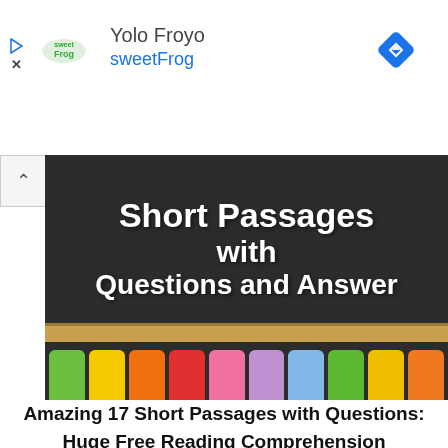[Figure (screenshot): Advertisement banner for Yolo Froyo / sweetFrog with logo, navigation icon, and dismiss controls]
[Figure (photo): Chalkboard image showing text 'Short Passages with Questions and Answers' with colorful tabs along the bottom edge]
Amazing 17 Short Passages with Questions: Huge Free Reading Comprehension Passages Pdf to Download
You have reached this interesting post as you might